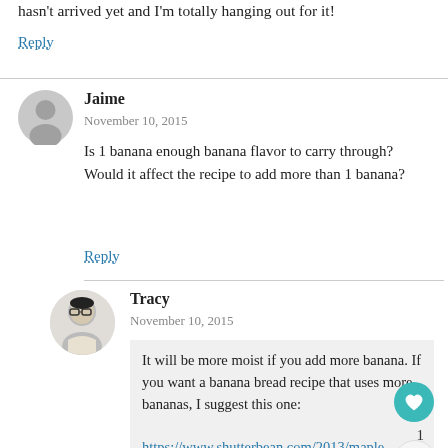hasn't arrived yet and I'm totally hanging out for it!
Reply
Jaime
November 10, 2015
Is 1 banana enough banana flavor to carry through? Would it affect the recipe to add more than 1 banana?
Reply
Tracy
November 10, 2015
It will be more moist if you add more banana. If you want a banana bread recipe that uses more bananas, I suggest this one:

https://www.shutterbean.com/2013/maple-olive-oil-banana-bread/

but I also loved Tessy's Banana Bread.